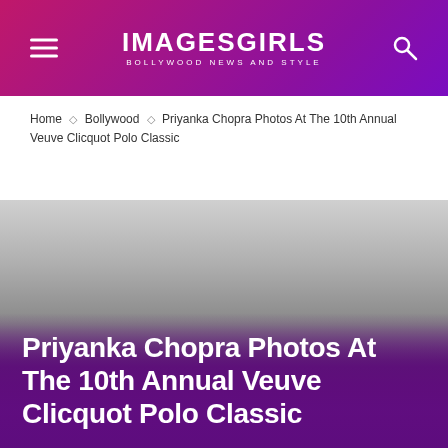IMAGESGIRLS — BOLLYWOOD NEWS AND STYLE
Home ◇ Bollywood ◇ Priyanka Chopra Photos At The 10th Annual Veuve Clicquot Polo Classic
[Figure (photo): Gradient background image area transitioning from light grey to purple/magenta at the bottom]
Priyanka Chopra Photos At The 10th Annual Veuve Clicquot Polo Classic